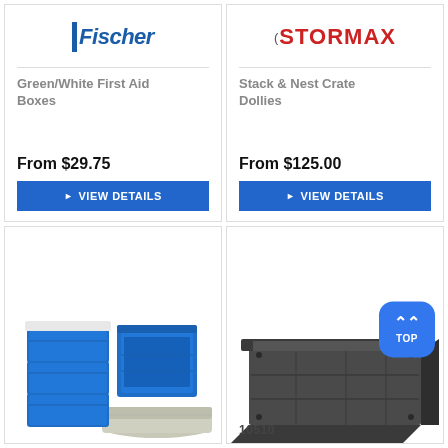[Figure (logo): Fischer brand logo in blue italic bold text with vertical bar]
Green/White First Aid Boxes
From $29.75
▶ VIEW DETAILS
[Figure (logo): Stormax brand logo in red bold uppercase text with C prefix]
Stack & Nest Crate Dollies
From $125.00
▶ VIEW DETAILS
[Figure (photo): Blue plastic stacking crates and a grey flat tray container]
[Figure (photo): Dark grey/black rectangular plastic crate with ribbed sides, with a blue TOP button overlay showing chevron up arrow]